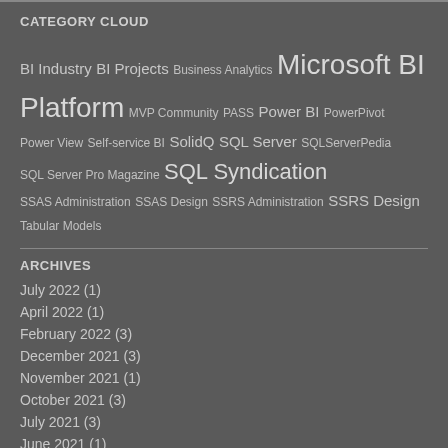CATEGORY CLOUD
BI Industry  BI Projects  Business Analytics  Microsoft BI  Platform  MVP Community  PASS  Power BI  PowerPivot  Power View  Self-service BI  SolidQ  SQL Server  SQLServerPedia  SQL Server Pro Magazine  SQL Syndication  SSAS Administration  SSAS Design  SSRS Administration  SSRS Design  Tabular Models
ARCHIVES
July 2022 (1)
April 2022 (1)
February 2022 (3)
December 2021 (3)
November 2021 (1)
October 2021 (3)
July 2021 (3)
June 2021 (1)
April 2021 (1)
March 2021 (2)